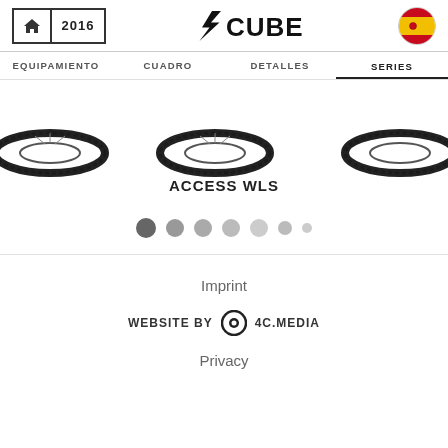2016 | CUBE | Spain flag
EQUIPAMIENTO  CUADRO  DETALLES  SERIES
[Figure (photo): Carousel showing bicycle wheel images with title ACCESS WLS]
[Figure (other): Pagination dots - 7 dots with first darker]
Imprint | WEBSITE BY 4C.MEDIA | Privacy